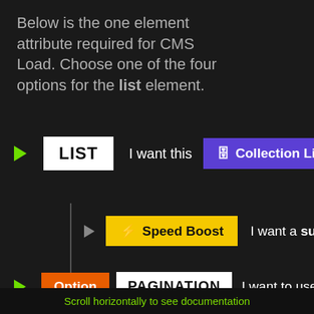Below is the one element attribute required for CMS Load. Choose one of the four options for the list element.
[Figure (screenshot): UI row showing a green play arrow, a white 'LIST' badge, text 'I want this', a purple 'Collection List' badge, and text 'to have']
[Figure (screenshot): UI row showing a grey play arrow, a yellow 'Speed Boost' badge with lightning bolt, and text 'I want a supercharged sp']
[Figure (screenshot): UI row showing a green play arrow, an orange 'Option' badge, a white 'PAGINATION' badge, and text 'I want to use a pagi']
Scroll horizontally to see documentation